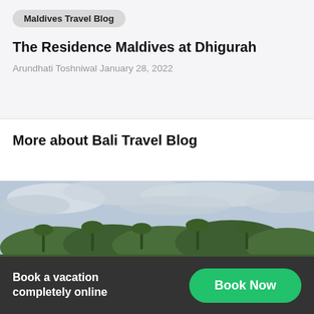Maldives Travel Blog
The Residence Maldives at Dhigurah
Arundhati Toshniwal January 28, 2022
More about Bali Travel Blog
[Figure (photo): Aerial or landscape view of Bali tropical forest/jungle with overcast sky and dense green tree canopy]
Book a vacation completely online
Book Now